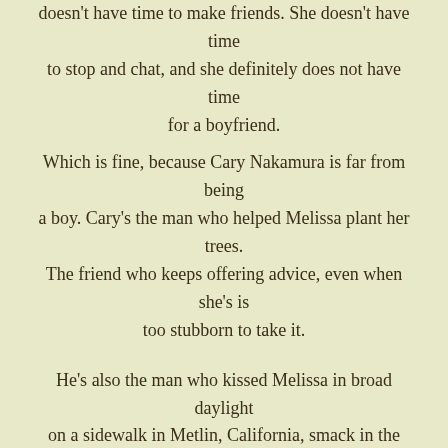doesn't have time to make friends. She doesn't have time to stop and chat, and she definitely does not have time for a boyfriend. Which is fine, because Cary Nakamura is far from being a boy. Cary's the man who helped Melissa plant her trees. The friend who keeps offering advice, even when she's is too stubborn to take it.

He's also the man who kissed Melissa in broad daylight on a sidewalk in Metlin, California, smack in the face of God and everyone.

But while Melissa may spend a little too long dreaming about Cary from a distance, she knows the kind of passion he promises is more than she can handle.

She just doesn't have the time.

But sometimes, no matter how busy you are, life makes